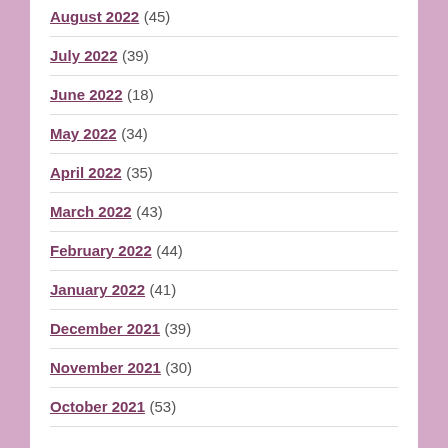August 2022 (45)
July 2022 (39)
June 2022 (18)
May 2022 (34)
April 2022 (35)
March 2022 (43)
February 2022 (44)
January 2022 (41)
December 2021 (39)
November 2021 (30)
October 2021 (53)